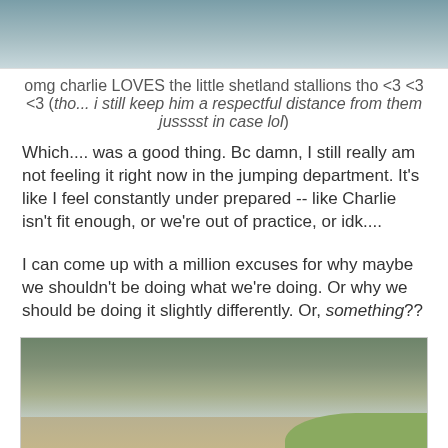[Figure (photo): Top portion of a photo showing what appears to be an animal (likely a horse/dog) on a light surface, cropped at bottom]
omg charlie LOVES the little shetland stallions tho <3 <3 <3
(tho... i still keep him a respectful distance from them jusssst in case lol)
Which.... was a good thing. Bc damn, I still really am not feeling it right now in the jumping department. It's like I feel constantly under prepared -- like Charlie isn't fit enough, or we're out of practice, or idk....
I can come up with a million excuses for why maybe we shouldn't be doing what we're doing. Or why we should be doing it slightly differently. Or, something??
[Figure (photo): Aerial/elevated view of an equestrian arena or riding ring with dirt footing, surrounded by bare winter trees, with a person standing in the arena and wooden jump standards visible]